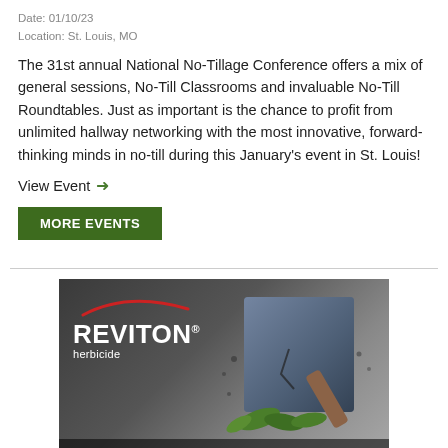Date: 01/10/23
Location: St. Louis, MO
The 31st annual National No-Tillage Conference offers a mix of general sessions, No-Till Classrooms and invaluable No-Till Roundtables. Just as important is the chance to profit from unlimited hallway networking with the most innovative, forward-thinking minds in no-till during this January's event in St. Louis!
View Event →
MORE EVENTS
[Figure (photo): Reviton herbicide advertisement showing a large blue stone block being struck by a hammer, with green weeds beneath it and the tagline 'NAIL WEEDS BEFORE SPRING PLANTING.']